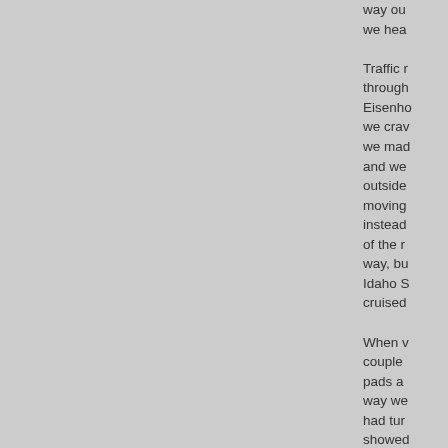[Figure (other): Large gray rectangle occupying the left portion of the page]
way ou we hea Traffic r through Eisenho we crav we mad and we outside moving instead of the r way, bu Idaho S cruised When v couple pads a way we had tur showe it was a when s an amb the diff unwarr this trip and filli goals e proud o